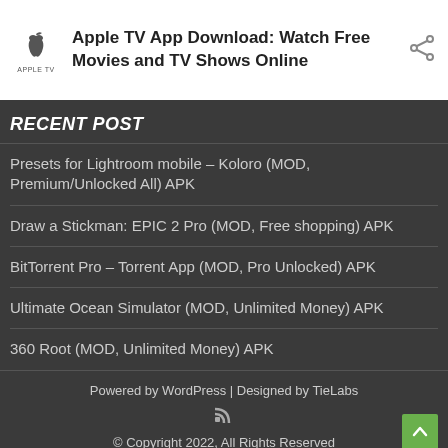[Figure (screenshot): Card with Apple TV app icon, bold title text, and share icon]
Apple TV App Download: Watch Free Movies and TV Shows Online
RECENT POST
Presets for Lightroom mobile – Koloro (MOD, Premium/Unlocked All) APK
Draw a Stickman: EPIC 2 Pro (MOD, Free shopping) APK
BitTorrent Pro – Torrent App (MOD, Pro Unlocked) APK
Ultimate Ocean Simulator (MOD, Unlimited Money) APK
360 Root (MOD, Unlimited Money) APK
Powered by WordPress | Designed by TieLabs
© Copyright 2022, All Rights Reserved